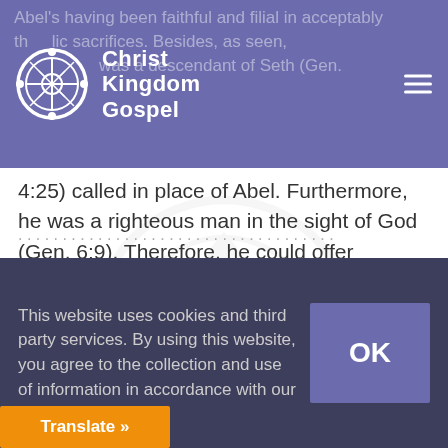Christ Kingdom Gospel
Abel's having been faithful and filial in acceptably offering symbolic sacrifices. Besides, as seen, was a descendant of Seth (Gen. 4:25) called in place of Abel. Furthermore, he was a righteous man in the sight of God (Gen. 6:9). Therefore, he could offer symbolic sacrifices directly by building the ark in obedience to God's will.
This website uses cookies and third party services. By using this website, you agree to the collection and use of information in accordance with our
OK
Translate »